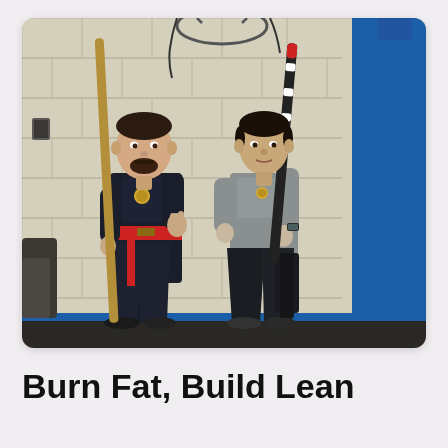[Figure (photo): Two people standing in a martial arts studio/gym with cinder block walls. The person on the left is a man wearing a black uniform with a red sash, holding a wooden bo staff. The person on the right is a woman wearing a gray t-shirt and black pants, holding a black and white striped stick/escrima. Both are in a ready stance. A blue wall/pillar is visible on the right, and gym equipment is visible on the left.]
Burn Fat, Build Lean